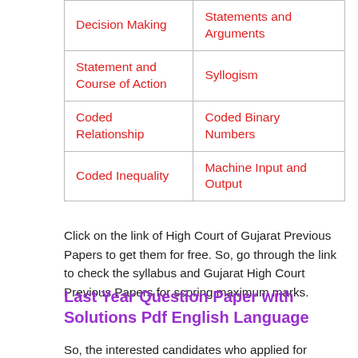| Decision Making | Statements and Arguments |
| Statement and Course of Action | Syllogism |
| Coded Relationship | Coded Binary Numbers |
| Coded Inequality | Machine Input and Output |
Click on the link of High Court of Gujarat Previous Papers to get them for free. So, go through the link to check the syllabus and Gujarat High Court Previous Papers for scoring maximum marks.
Last Year Question Paper with Solutions Pdf English Language
So, the interested candidates who applied for Deputy